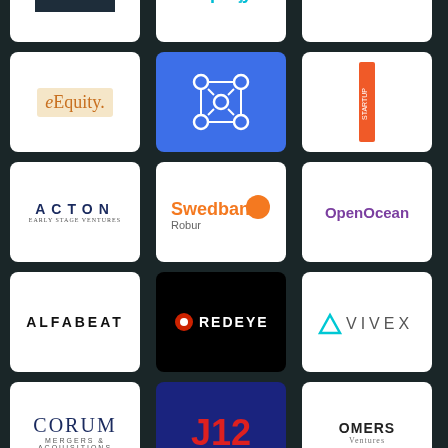[Figure (logo): WEB logo on dark background]
[Figure (logo): Companjon logo in teal/cyan]
[Figure (logo): Ventures logo (partial)]
[Figure (logo): eEquity logo on cream background]
[Figure (logo): Komono/network diagram logo on blue background]
[Figure (logo): Vertical red bar logo]
[Figure (logo): ACTON logo]
[Figure (logo): Swedbank Robur logo]
[Figure (logo): OpenOcean logo in purple]
[Figure (logo): ALFABEAT logo]
[Figure (logo): REDEYE logo on black background]
[Figure (logo): VIVEX logo with triangle icon]
[Figure (logo): CORUM Mergers & Acquisitions logo]
[Figure (logo): J12 logo on dark blue/navy background]
[Figure (logo): OMERS Ventures logo]
[Figure (logo): Finstart logo in gray]
[Figure (logo): Project A logo]
[Figure (logo): LBT Media logo in green]